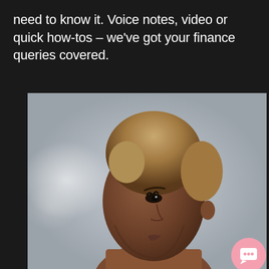need to know it. Voice notes, video or quick how-tos – we've got your finance queries covered.
[Figure (photo): Close-up profile portrait of a young Black woman with short bleached natural hair, looking to the left, against a blurred light grey background, photographed in high contrast natural light.]